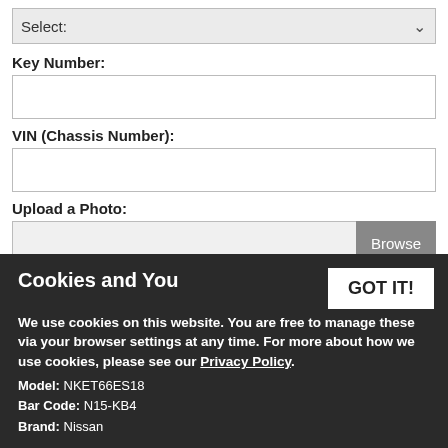Select:
Key Number:
VIN (Chassis Number):
Upload a Photo:
Upload a Photo:
Cookies and You
We use cookies on this website. You are free to manage these via your browser settings at any time. For more about how we use cookies, please see our Privacy Policy.
Model: NKET66ES18
Bar Code: N15-KB4
Brand: Nissan